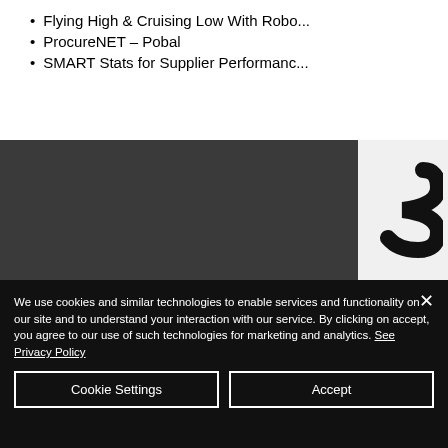Flying High & Cruising Low With Robo...
ProcureNET – Pobal
SMART Stats for Supplier Performance...
[Figure (logo): Stylized '3' or S-curve logo mark in black and white on light background]
We use cookies and similar technologies to enable services and functionality on our site and to understand your interaction with our service. By clicking on accept, you agree to our use of such technologies for marketing and analytics. See Privacy Policy
Cookie Settings
Accept